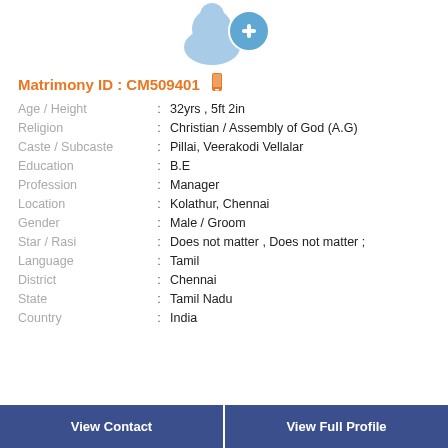[Figure (illustration): Profile placeholder icon — blue silhouette of a person with a blue circle and white plus sign in the top-right, indicating add/upload photo.]
Matrimony ID : CM509401
| Age / Height | : | 32yrs , 5ft 2in |
| Religion | : | Christian / Assembly of God (A.G) |
| Caste / Subcaste | : | Pillai, Veerakodi Vellalar |
| Education | : | B.E |
| Profession | : | Manager |
| Location | : | Kolathur, Chennai |
| Gender | : | Male / Groom |
| Star / Rasi | : | Does not matter , Does not matter ; |
| Language | : | Tamil |
| District | : | Chennai |
| State | : | Tamil Nadu |
| Country | : | India |
View Contact
View Full Profile